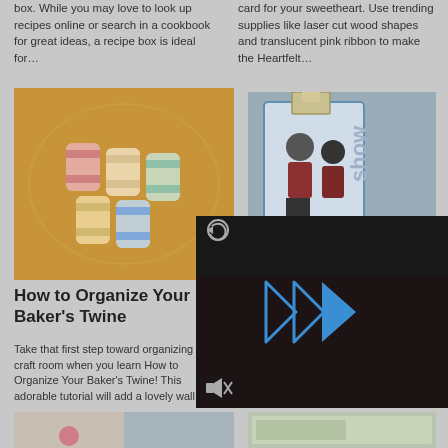box. While you may love to look up recipes online or search in a cookbook for great ideas, a recipe box is ideal for…
card for your sweetheart. Use trending supplies like laser cut wood shapes and translucent pink ribbon to make the Heartfelt…
[Figure (photo): Photo of baker's twine spools arranged on an orange/gold decorative laser-cut wood holder]
[Figure (photo): Photo of scrapbook cards with a binder clip showing a figure in winter clothing and the word 'show']
How to Organize Your Baker's Twine
Take that first step toward organizing your craft room when you learn How to Organize Your Baker's Twine! This adorable tutorial will add a lovely wall…
[Figure (screenshot): Dark video overlay with play button (blue triangle arrows) and control icons (replay and mute)]
[Figure (photo): Partial photo bottom left - craft item with pink element on light background]
[Figure (photo): Partial photo bottom right - decorative paper craft item]